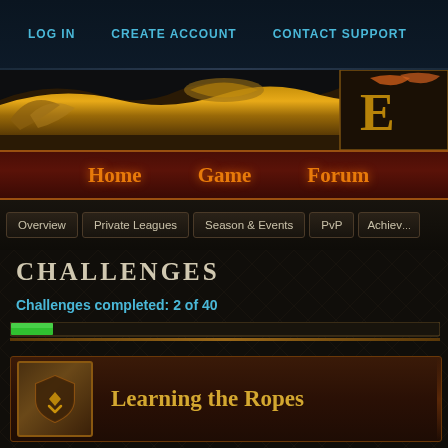LOG IN   CREATE ACCOUNT   CONTACT SUPPORT
[Figure (screenshot): Game logo with golden ornamental banner and decorative crest on right side]
HOME   GAME   FORUM
Overview
Private Leagues
Season & Events
PvP
Achiev...
Challenges
Challenges completed: 2 of 40
[Figure (infographic): Progress bar showing 2 of 40 challenges completed, filled green section on left]
Learning the Ropes